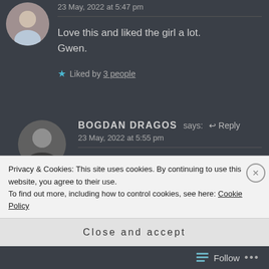23 May, 2022 at 5:47 pm
Love this and liked the girl a lot. Gwen.
★ Liked by 3 people
BOGDAN DRAGOS says: ↩ Reply
23 May, 2022 at 5:55 pm
Thank you, Gwen! Me too ( ◎_◎)
Privacy & Cookies: This site uses cookies. By continuing to use this website, you agree to their use.
To find out more, including how to control cookies, see here: Cookie Policy
Close and accept
Follow